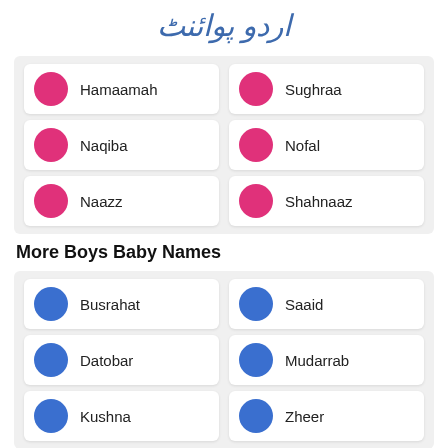[Figure (logo): Urdu Point logo with stylized Urdu text]
Hamaamah
Sughraa
Naqiba
Nofal
Naazz
Shahnaaz
More Boys Baby Names
Busrahat
Saaid
Datobar
Mudarrab
Kushna
Zheer